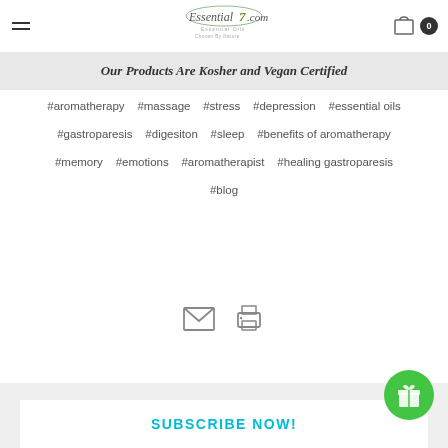Essential7.com — Our Products Are Kosher and Vegan Certified
Our Products Are Kosher and Vegan Certified
#aromatherapy  #massage  #stress  #depression  #essential oils
#gastroparesis  #digesiton  #sleep  #benefits of aromatherapy
#memory  #emotions  #aromatherapist  #healing gastroparesis
#blog
[Figure (infographic): Email icon and printer icon]
SUBSCRIBE NOW!